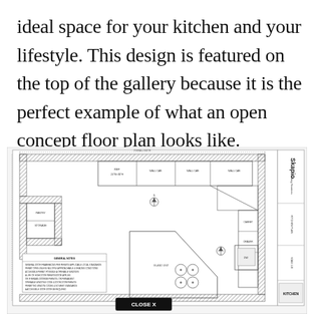ideal space for your kitchen and your lifestyle. This design is featured on the top of the gallery because it is the perfect example of what an open concept floor plan looks like.
[Figure (engineering-diagram): Kitchen floor plan/schematic drawing showing an open concept kitchen layout with cabinets, island with cooktop, appliances, dimensions, and a title block with 'Skapio Drafting Services' and 'KITCHEN' label. A 'CLOSE X' button overlay is visible at the bottom.]